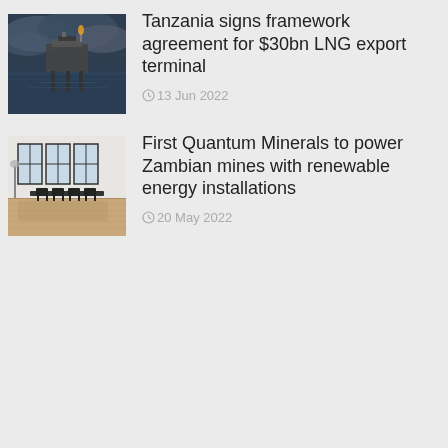[Figure (photo): Offshore oil/gas platform at sea under dramatic cloudy sky, dark tones]
Tanzania signs framework agreement for $30bn LNG export terminal
13 Jun 2022
[Figure (photo): Modern interior room with large windows, chairs around a table, hardwood floor, bright and minimal]
First Quantum Minerals to power Zambian mines with renewable energy installations
20 May 2022